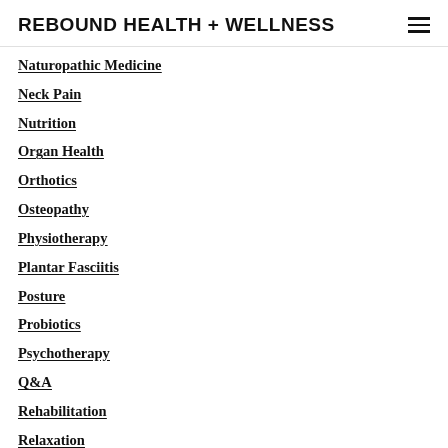REBOUND HEALTH + WELLNESS
Naturopathic Medicine
Neck Pain
Nutrition
Organ Health
Orthotics
Osteopathy
Physiotherapy
Plantar Fasciitis
Posture
Probiotics
Psychotherapy
Q&A
Rehabilitation
Relaxation
Resolutions
Sciatic Nerve
Shoulder Injury